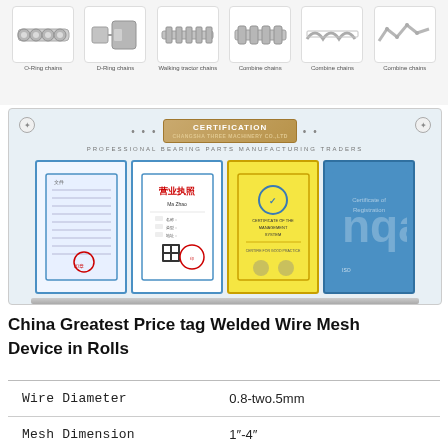[Figure (photo): Grid of chain product images with labels: O-Ring chains, D-Ring chains, Walking tractor chains, Combine chains (x3)]
[Figure (photo): Certification banner showing company certifications including business license (营业执照), ISO certificate (yellow), and NQA certificate (blue). Header reads CERTIFICATION with subtitle PROFESSIONAL BEARING PARTS MANUFACTURING TRADERS]
China Greatest Price tag Welded Wire Mesh Device in Rolls
| Wire Diameter | 0.8-two.5mm |
| Mesh Dimension | 1"-4" |